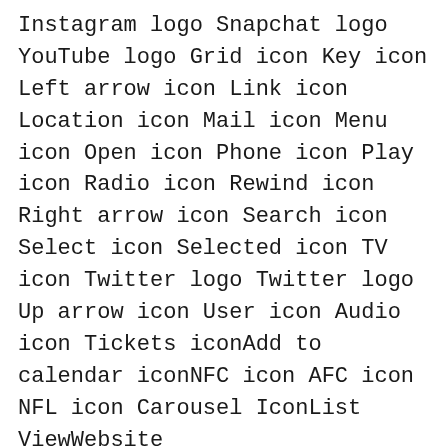Instagram logo Snapchat logo YouTube logo Grid icon Key icon Left arrow icon Link icon Location icon Mail icon Menu icon Open icon Phone icon Play icon Radio icon Rewind icon Right arrow icon Search icon Select icon Selected icon TV icon Twitter logo Twitter logo Up arrow icon User icon Audio icon Tickets iconAdd to calendar iconNFC icon AFC icon NFL icon Carousel IconList ViewWebsite InstagramTwitterFacebookSnapchatShop IconProfile Overlay AvatarAddAirplayArrow LeftArrow RightArrow UpArrow DownAudioBack 5sBack 10sBack 30sCalendarChartCheckDownLeftRightUpChromecast OffChromecast OnCloseClosed CaptionsBench OffBench OnBroad OffBroad OnVertical OffVertical